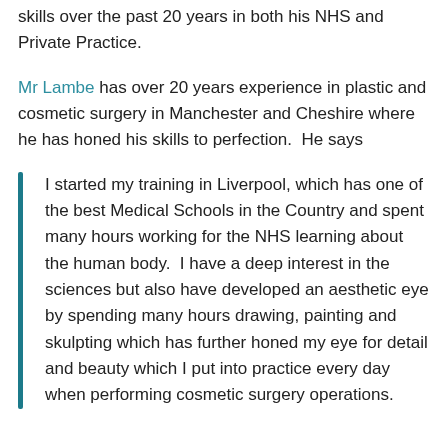skills over the past 20 years in both his NHS and Private Practice.
Mr Lambe has over 20 years experience in plastic and cosmetic surgery in Manchester and Cheshire where he has honed his skills to perfection.  He says
I started my training in Liverpool, which has one of the best Medical Schools in the Country and spent many hours working for the NHS learning about the human body.  I have a deep interest in the sciences but also have developed an aesthetic eye by spending many hours drawing, painting and skulpting which has further honed my eye for detail and beauty which I put into practice every day when performing cosmetic surgery operations.